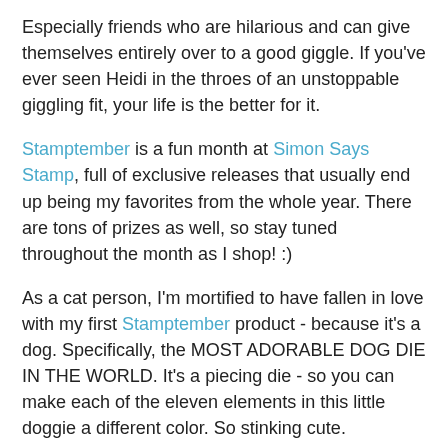Especially friends who are hilarious and can give themselves entirely over to a good giggle. If you've ever seen Heidi in the throes of an unstoppable giggling fit, your life is the better for it.
Stamptember is a fun month at Simon Says Stamp, full of exclusive releases that usually end up being my favorites from the whole year. There are tons of prizes as well, so stay tuned throughout the month as I shop! :)
As a cat person, I'm mortified to have fallen in love with my first Stamptember product - because it's a dog. Specifically, the MOST ADORABLE DOG DIE IN THE WORLD. It's a piecing die - so you can make each of the eleven elements in this little doggie a different color. So stinking cute.
So I watercolored a piece of watercolor paper in pink and orange and yellow and orange (colors listed below the card) and then die cut three dogs - one from the pink/orange section, one from the yellow/orange section and one from black cardstock. I did the same with my stitched circles dies for the background. Then I pieced my little pup together and